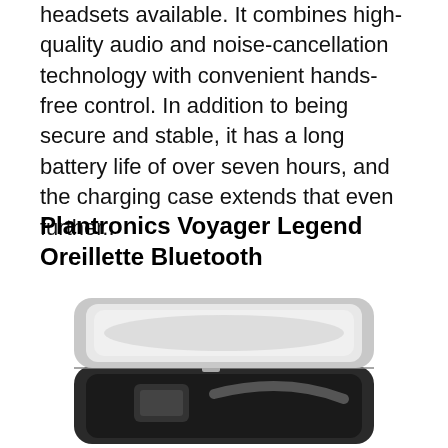headsets available. It combines high-quality audio and noise-cancellation technology with convenient hands-free control. In addition to being secure and stable, it has a long battery life of over seven hours, and the charging case extends that even further..
Plantronics Voyager Legend Oreillette Bluetooth
[Figure (photo): A Plantronics Voyager Legend Bluetooth headset charging case, shown open with the white-lined lid lifted up, revealing the dark interior of the case with the headset inside.]